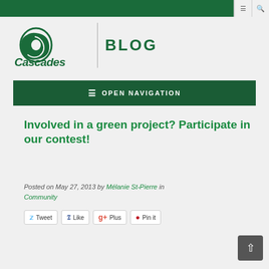Cascades BLOG
≡ OPEN NAVIGATION
Involved in a green project? Participate in our contest!
Posted on May 27, 2013 by Mélanie St-Pierre in Community
Tweet | Like | Plus | Pin it